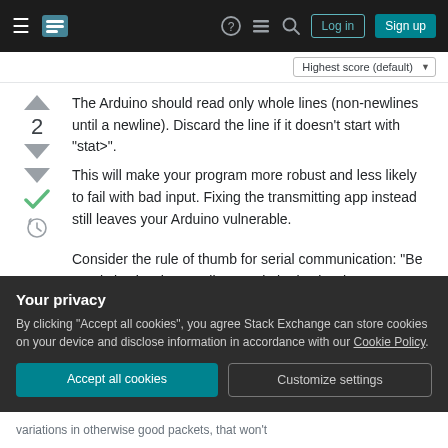Stack Exchange navigation bar with hamburger menu, logo, help, chat, search icons, Log in and Sign up buttons
Highest score (default)
The Arduino should read only whole lines (non-newlines until a newline). Discard the line if it doesn't start with "stat>".
This will make your program more robust and less likely to fail with bad input. Fixing the transmitting app instead still leaves your Arduino vulnerable.
Consider the rule of thumb for serial communication: "Be restrictive in what you'll transmit; be lax in what
Your privacy
By clicking "Accept all cookies", you agree Stack Exchange can store cookies on your device and disclose information in accordance with our Cookie Policy.
Accept all cookies
Customize settings
variations in otherwise good packets, that won't